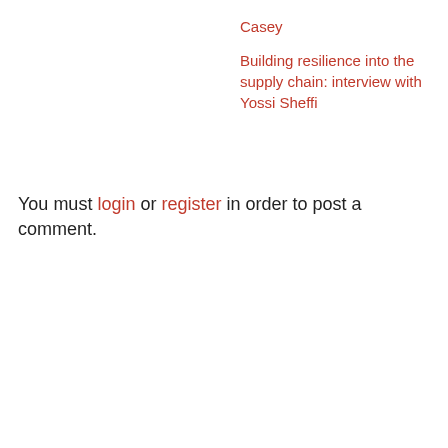Casey
Building resilience into the supply chain: interview with Yossi Sheffi
You must login or register in order to post a comment.